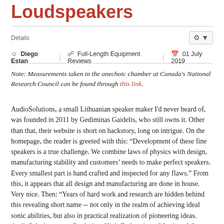Loudspeakers
Details
Diego Estan   Full-Length Equipment Reviews   01 July 2019
Note: Measurements taken in the anechoic chamber at Canada's National Research Council can be found through this link.
AudioSolutions, a small Lithuanian speaker maker I'd never heard of, was founded in 2011 by Gediminas Gaidelis, who still owns it. Other than that, their website is short on backstory, long on intrigue. On the homepage, the reader is greeted with this: “Development of these fine speakers is a true challenge. We combine laws of physics with design, manufacturing stability and customers’ needs to make perfect speakers. Every smallest part is hand crafted and inspected for any flaws.” From this, it appears that all design and manufacturing are done in house. Very nice. Then: “Years of hard work and research are hidden behind this revealing short name -- not only in the realm of achieving ideal sonic abilities, but also in practical realization of pioneering ideas. AudioSolutions steps firmly into High-End territory.” Intrigued, I